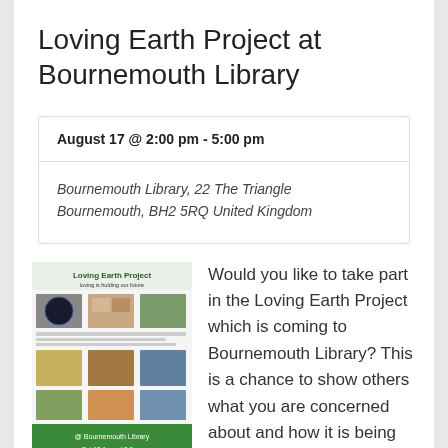Loving Earth Project at Bournemouth Library
August 17 @ 2:00 pm - 5:00 pm
Bournemouth Library, 22 The Triangle Bournemouth, BH2 5RQ United Kingdom
[Figure (illustration): Loving Earth Project promotional poster with photos and green banner]
Would you like to take part in the Loving Earth Project which is coming to Bournemouth Library? This is a chance to show others what you are concerned about and how it is being impacted by climate breakdown. It could be something that is being effected globally or locally. At the workshops we will